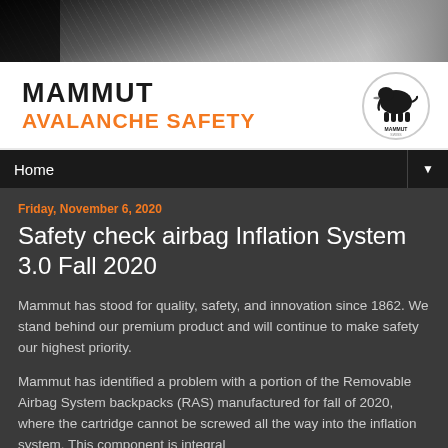[Figure (photo): Mountain/snow landscape hero image in grayscale, dark at top fading through cloudy/snowy textures]
MAMMUT
AVALANCHE SAFETY
[Figure (logo): Mammut circular logo with mammoth illustration and MAMMUT SWISS text]
Home
Friday, November 6, 2020
Safety check airbag Inflation System 3.0 Fall 2020
Mammut has stood for quality, safety, and innovation since 1862. We stand behind our premium product and will continue to make safety our highest priority.
Mammut has identified a problem with a portion of the Removable Airbag System backpacks (RAS) manufactured for fall of 2020, where the cartridge cannot be screwed all the way into the inflation system. This component is integral